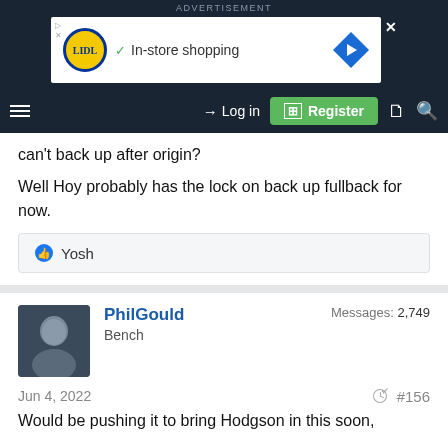[Figure (screenshot): Advertisement banner showing Lidl logo with 'In-store shopping' text and navigation arrow icon]
ADVERTISEMENT | hamburger menu | Log in | Register | document icon | search icon
can't back up after origin?
Well Hoy probably has the lock on back up fullback for now.
👍 Yosh
PhilGould
Bench
Messages: 2,749
Jun 4, 2022  #156
Would be pushing it to bring Hodgson in this soon,